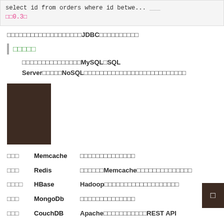select id from orders where id betwe... 0.3
上述语句对于不同数据库引擎JDBC层面的差异如下：
缓存数据库
常见的关系数据库有MySQL、SQL Server等，而NoSQL的缓存数据库的详细说明如下。
[Figure (illustration): Brown book cover image]
| 类型 | 名称 | 说明 |
| --- | --- | --- |
| 内存型 | Memcache | 最流行的分布式缓存数据库 |
| 内存型 | Redis | 功能超越Memcache的新型缓存数据库 |
| 列存型 | HBase | Hadoop生态圈中的大数据量列式数据库 |
| 文档型 | MongoDb | 最流行的文档数据库 |
| 文档型 | CouchDB | Apache下的文档数据库，提供REST API |
| 文档型 | SequoiaDB | 国产文档数据库 |
| 图形型 | Neo4j | 最流行的图数据库 |